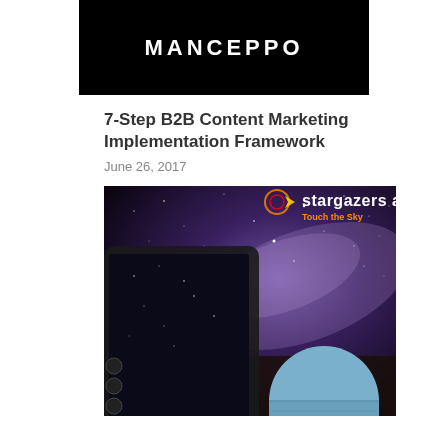MANCEPPO
7-Step B2B Content Marketing Implementation Framework
June 26, 2017
[Figure (photo): Stargazers app advertisement showing a tablet with stargazing app, Milky Way night sky background, a telescope dome, logo with 'stargazers app' text and 'Touch the Sky' tagline in orange]